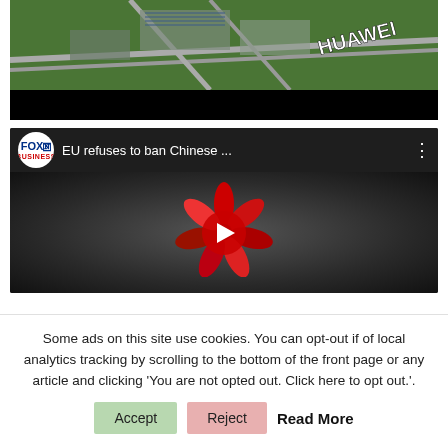[Figure (photo): Aerial view of Huawei campus with large HUAWEI sign, buildings, roads, and greenery. Below is a black bar.]
[Figure (screenshot): YouTube video embed with Fox Business logo, title 'EU refuses to ban Chinese ...', three-dot menu, and Huawei logo thumbnail with red play button in center.]
Some ads on this site use cookies. You can opt-out if of local analytics tracking by scrolling to the bottom of the front page or any article and clicking 'You are not opted out. Click here to opt out.'.
Accept
Reject
Read More